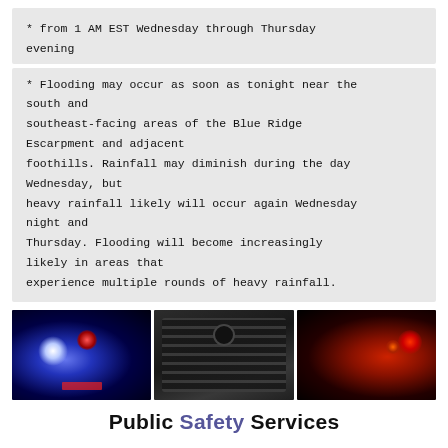* from 1 AM EST Wednesday through Thursday evening
* Flooding may occur as soon as tonight near the south and southeast-facing areas of the Blue Ridge Escarpment and adjacent foothills. Rainfall may diminish during the day Wednesday, but heavy rainfall likely will occur again Wednesday night and Thursday. Flooding will become increasingly likely in areas that experience multiple rounds of heavy rainfall.
[Figure (photo): Three side-by-side photos: a police car with blue and red emergency lights, a close-up of a police radio/walkie-talkie speaker, and a fire truck with red emergency lights in the dark.]
Public Safety Services